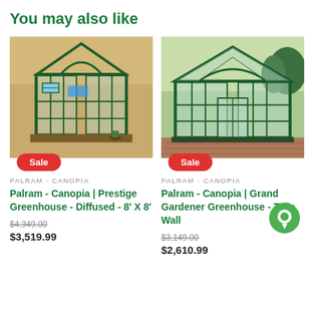You may also like
[Figure (photo): Palram-Canopia Prestige Greenhouse 8x8 with diffused polycarbonate panels, dark green frame, indoor grow light visible, with red Sale badge]
[Figure (photo): Palram-Canopia Grand Gardener Greenhouse Twin Wall, large green-framed structure on brick patio with trees in background, with red Sale badge]
PALRAM - CANOPIA
Palram - Canopia | Prestige Greenhouse - Diffused - 8' X 8'
$4,349.00
$3,519.99
PALRAM - CANOPIA
Palram - Canopia | Grand Gardener Greenhouse - Twin Wall
$3,149.00
$2,610.99